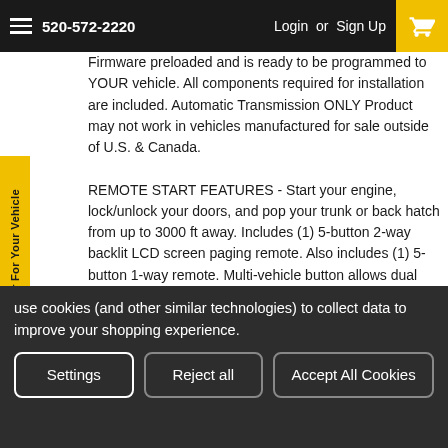520-572-2220  Login or Sign Up
Firmware preloaded and is ready to be programmed to YOUR vehicle. All components required for installation are included. Automatic Transmission ONLY Product may not work in vehicles manufactured for sale outside of U.S. & Canada. REMOTE START FEATURES - Start your engine, lock/unlock your doors, and pop your trunk or back hatch from up to 3000 ft away. Includes (1) 5-button 2-way backlit LCD screen paging remote. Also includes (1) 5-button 1-way remote. Multi-vehicle button allows dual vehicle control. Programmable 2, 3, or 4 hourly auto-start mode options. Programmable 5, 10, 20, or 30 minute run time options. SPECIAL NOTES - Compatible with automatic transmission vehicles only. AVAILABLE OPTIONS (at additional cost) - Smartphone Interface Module: U.S. ONLY. - CSRF Kit 1: Add (2) 1 button remotes with AM antenna. - CSRF Kit 4: Add (2) 5 button remotes with AM
Find A Remote Starter For Your Vehicle
use cookies (and other similar technologies) to collect data to improve your shopping experience.
Settings  Reject all  Accept All Cookies